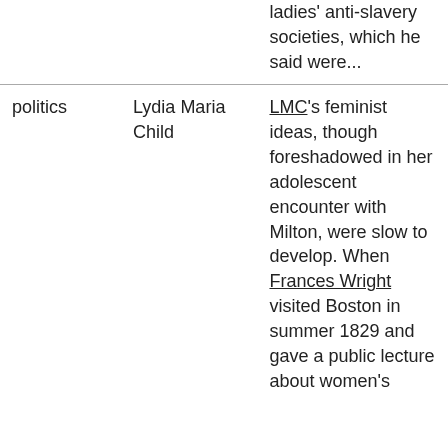|  |  | ladies' anti-slavery societies, which he said were... |
| politics | Lydia Maria Child | LMC's feminist ideas, though foreshadowed in her adolescent encounter with Milton, were slow to develop. When Frances Wright visited Boston in summer 1829 and gave a public lecture about women's |